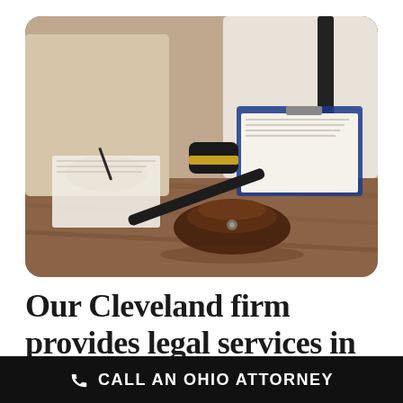[Figure (photo): Photo of a legal consultation scene: two people at a wooden desk with documents and clipboards, a judge's gavel with gold band resting on its wooden base in the foreground.]
Our Cleveland firm provides legal services in
CALL AN OHIO ATTORNEY